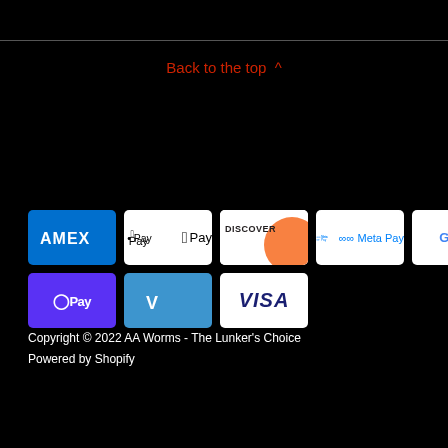Back to the top ^
[Figure (logo): Payment method icons: American Express, Apple Pay, Discover, Meta Pay, Google Pay, Mastercard, PayPal, Shop Pay, Venmo, Visa]
Copyright © 2022 AA Worms - The Lunker's Choice
Powered by Shopify